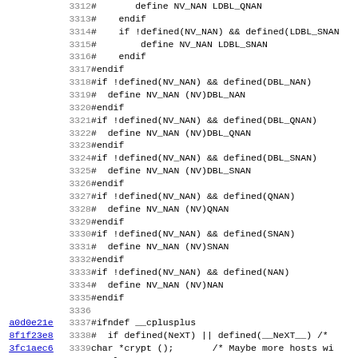[Figure (screenshot): Source code viewer showing C preprocessor macros for NV_NAN definitions (lines 3312-3343), with git blame hashes on the left for lines 3337-3343 and line numbers in gray.]